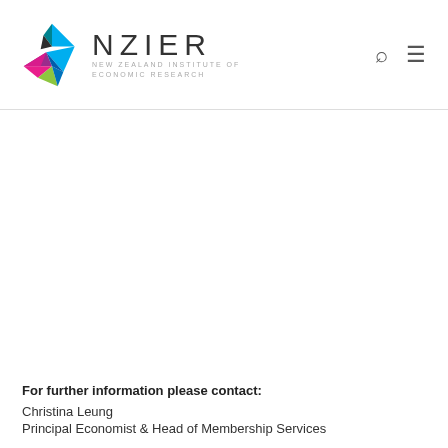[Figure (logo): NZIER – New Zealand Institute of Economic Research logo with colourful geometric bird/kite mark and NZIER wordmark]
For further information please contact:
Christina Leung
Principal Economist & Head of Membership Services